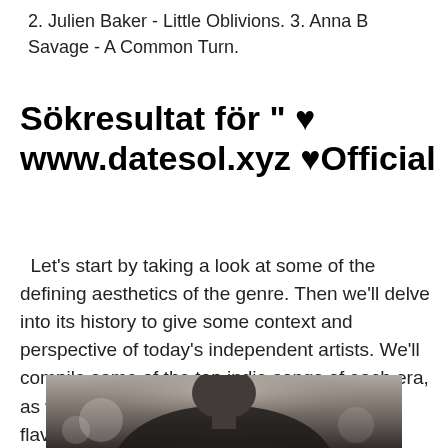2. Julien Baker - Little Oblivions. 3. Anna B Savage - A Common Turn.
Sökresultat för " ♥ www.datesol.xyz ♥Official
Let's start by taking a look at some of the defining aesthetics of the genre. Then we'll delve into its history to give some context and perspective of today's independent artists. We'll compile some of the top indie songs of each era, as well, to offer an overview of the different flavors out there.
[Figure (photo): Black and white photo of a person, cropped to show head and upper torso, looking downward, wearing a dark textured jacket or sweater.]